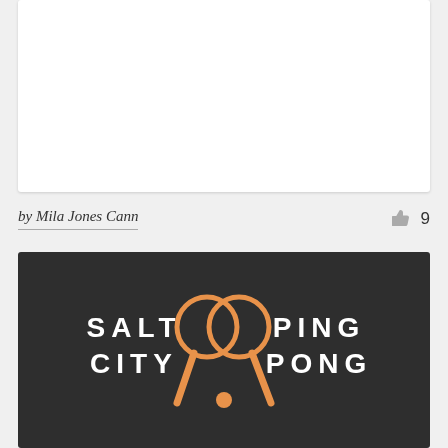[Figure (other): White card area at top (blank content)]
by Mila Jones Cann
[Figure (logo): Salt City Ping Pong logo on dark background — two crossed ping pong paddles in orange outline, flanked by 'SALT CITY' on left and 'PING PONG' on right in white bold spaced lettering]